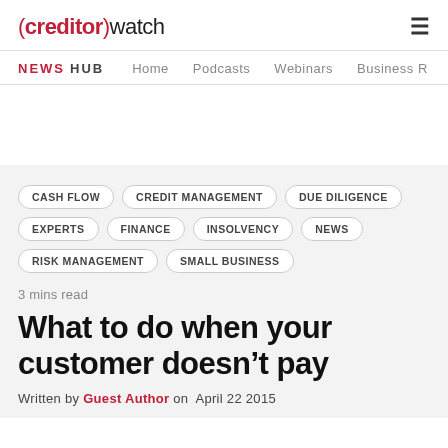(creditor)watch
NEWS HUB  Home  Podcasts  Webinars  Business R
CASH FLOW
CREDIT MANAGEMENT
DUE DILIGENCE
EXPERTS
FINANCE
INSOLVENCY
NEWS
RISK MANAGEMENT
SMALL BUSINESS
3 mins read
What to do when your customer doesn’t pay
Written by Guest Author on  April 22 2015